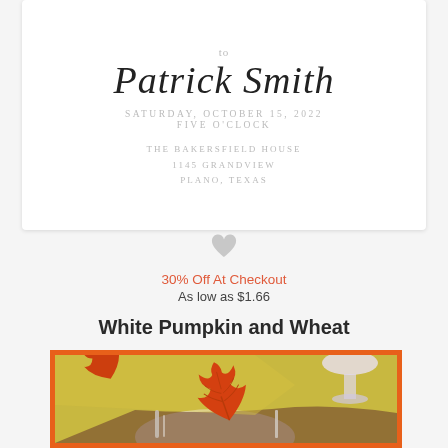[Figure (illustration): Invitation card showing 'to Patrick Smith' in script font with date Saturday October 15 2022, Five O'clock, The Bakersfield House, 1145 Grandview, Plano Texas]
[Figure (illustration): Small grey heart icon]
30% Off At Checkout
As low as $1.66
White Pumpkin and Wheat
[Figure (illustration): Autumn table setting painting with orange maple leaves on a white plate, silverware, yellow-green tablecloth, and a wine glass visible, framed in an orange border]